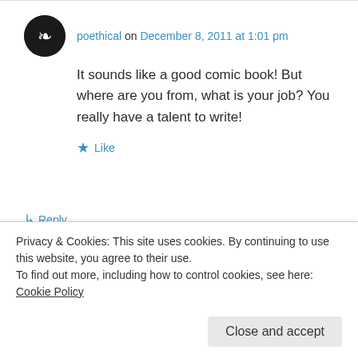poethical on December 8, 2011 at 1:01 pm
It sounds like a good comic book! But where are you from, what is your job? You really have a talent to write!
Like
Reply
Deidra Alexander on December 8, 2011 at
Reply
Privacy & Cookies: This site uses cookies. By continuing to use this website, you agree to their use.
To find out more, including how to control cookies, see here: Cookie Policy
Close and accept